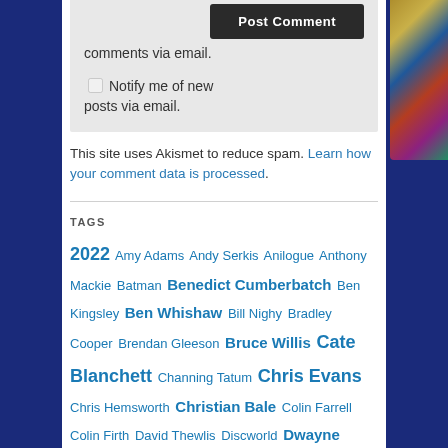comments via email.
Notify me of new posts via email.
This site uses Akismet to reduce spam. Learn how your comment data is processed.
TAGS
2022 Amy Adams Andy Serkis Anilogue Anthony Mackie Batman Benedict Cumberbatch Ben Kingsley Ben Whishaw Bill Nighy Bradley Cooper Brendan Gleeson Bruce Willis Cate Blanchett Channing Tatum Chris Evans Chris Hemsworth Christian Bale Colin Farrell Colin Firth David Thewlis Discworld Dwayne Johnson Eddie Marsan Emily Blunt Emma Stone Emma Thompson Ewan McGregor Film and Music Cycle FrauenFilmTage Gemma Arterton